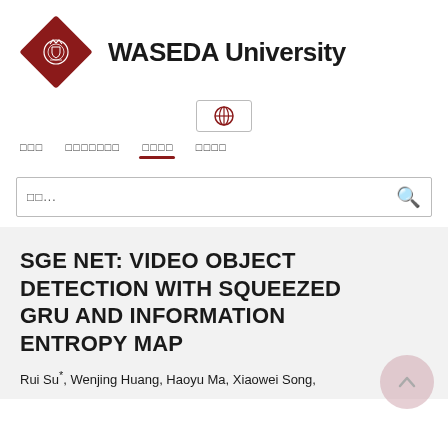[Figure (logo): Waseda University logo: red diamond shape with white crest emblem and text 'WASEDA University' in bold black]
[Figure (infographic): Globe/language selection icon button with red globe inside a bordered box]
□□□  □□□□□□□  □□□□  □□□□
SGE NET: VIDEO OBJECT DETECTION WITH SQUEEZED GRU AND INFORMATION ENTROPY MAP
Rui Su*, Wenjing Huang, Haoyu Ma, Xiaowei Song,